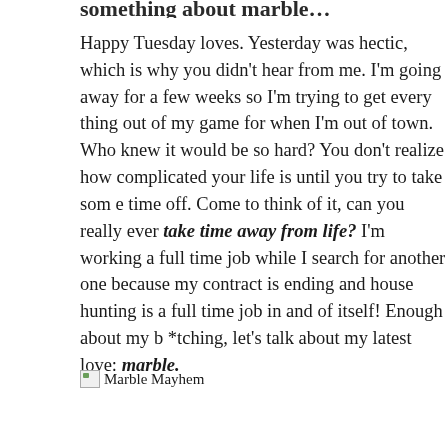something about marble...
Happy Tuesday loves. Yesterday was hectic, which is why you didn't hear from me. I'm going away for a few weeks so I'm trying to get everything out of my game for when I'm out of town. Who knew it would be so hard? You don't realize how complicated your life is until you try to take some time off. Come to think of it, can you really ever take time away from life? I'm working a full time job while I search for another one because my contract is ending and house hunting is a full time job in and of itself! Enough about my b*tching, let's talk about my latest love: marble.
[Figure (photo): Marble Mayhem image placeholder with broken image icon]